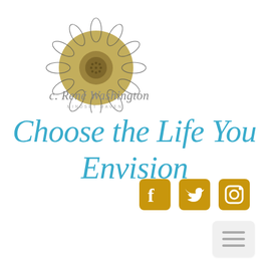[Figure (logo): Sunflower logo with a golden circle and sketched petals, above the handwritten brand name 'c. René Washington' with 'MINDSET MAVEN' subtitle]
Choose the Life You Envision
[Figure (infographic): Three golden social media icons: Facebook, Twitter, Instagram]
[Figure (infographic): Light gray rounded rectangle menu/hamburger button with three horizontal lines]